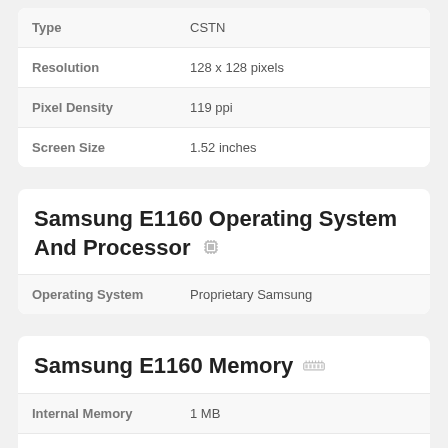| Property | Value |
| --- | --- |
| Type | CSTN |
| Resolution | 128 x 128 pixels |
| Pixel Density | 119 ppi |
| Screen Size | 1.52 inches |
Samsung E1160 Operating System And Processor
| Property | Value |
| --- | --- |
| Operating System | Proprietary Samsung |
Samsung E1160 Memory
| Property | Value |
| --- | --- |
| Internal Memory | 1 MB |
| Expandable | No |